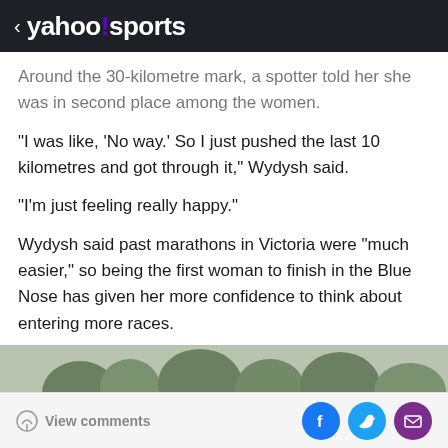< yahoo!sports
Around the 30-kilometre mark, a spotter told her she was in second place among the women.
"I was like, 'No way.' So I just pushed the last 10 kilometres and got through it," Wydysh said.
"I'm just feeling really happy."
Wydysh said past marathons in Victoria were "much easier," so being the first woman to finish in the Blue Nose has given her more confidence to think about entering more races.
[Figure (photo): Outdoor photo showing trees and runners at a marathon event, taken on an overcast day.]
View comments | Facebook share | Twitter share | Email share